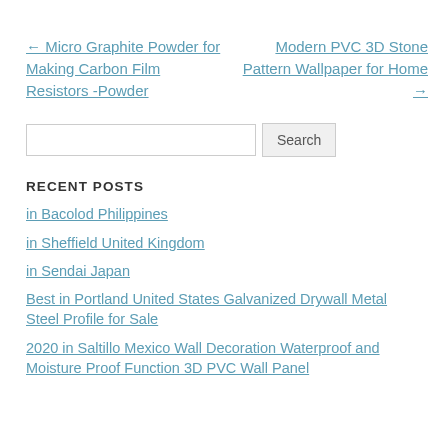← Micro Graphite Powder for Making Carbon Film Resistors -Powder
Modern PVC 3D Stone Pattern Wallpaper for Home →
[Search input field] Search
RECENT POSTS
in Bacolod Philippines
in Sheffield United Kingdom
in Sendai Japan
Best in Portland United States Galvanized Drywall Metal Steel Profile for Sale
2020 in Saltillo Mexico Wall Decoration Waterproof and Moisture Proof Function 3D PVC Wall Panel